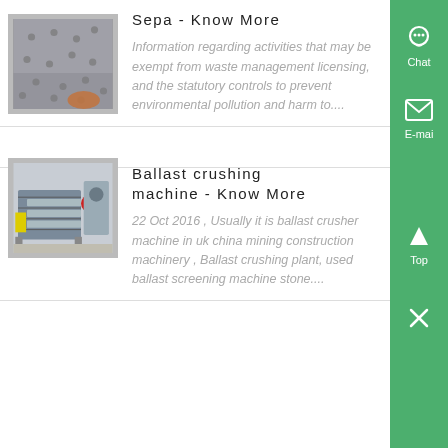[Figure (photo): Metal surface with holes, industrial machinery part]
Sepa - Know More
Information regarding activities that may be exempt from waste management licensing, and the statutory controls to prevent environmental pollution and harm to....
[Figure (photo): Ballast crushing machine on a construction site]
Ballast crushing machine - Know More
22 Oct 2016 , Usually it is ballast crusher machine in uk china mining construction machinery , Ballast crushing plant, used ballast screening machine stone....